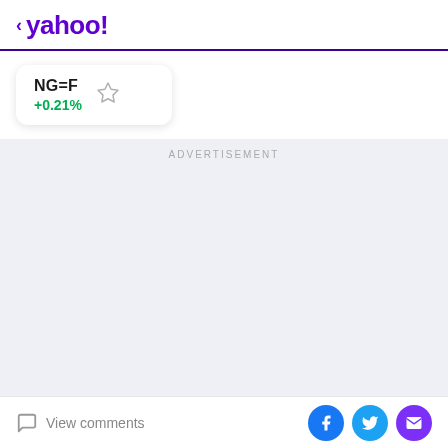< yahoo!
NG=F +0.21%
ADVERTISEMENT
View comments